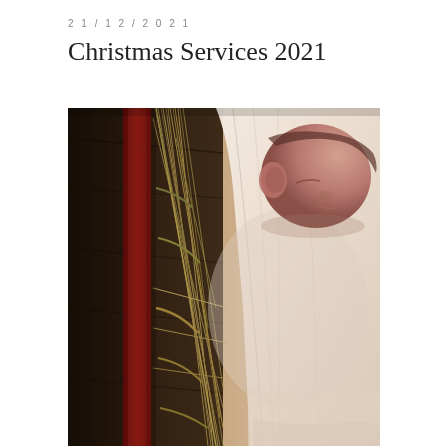21/12/2021
Christmas Services 2021
[Figure (photo): A newborn baby wrapped in a white muslin cloth, sleeping peacefully in a bed of straw with a red wooden element visible on the left side — an artistic nativity-inspired photograph.]